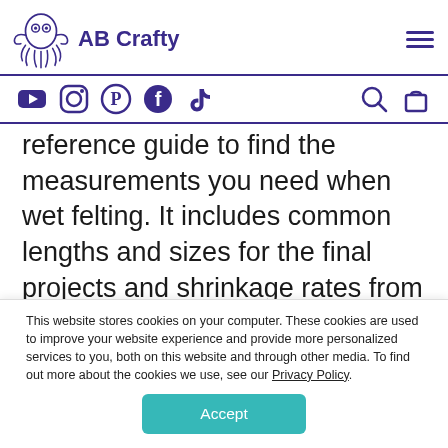AB Crafty
[Figure (illustration): Octopus logo icon for AB Crafty with social media icons (YouTube, Instagram, Pinterest, Facebook, TikTok, Search, Bag)]
reference guide to find the measurements you need when wet felting. It includes common lengths and sizes for the final projects and shrinkage rates from 20-50%. This way you can keep it with your wet felting supplies and always have it as a reference
This website stores cookies on your computer. These cookies are used to improve your website experience and provide more personalized services to you, both on this website and through other media. To find out more about the cookies we use, see our Privacy Policy.